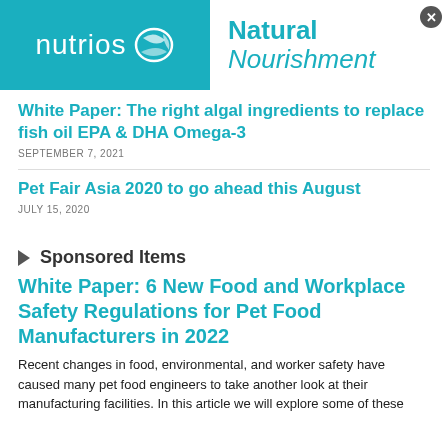[Figure (logo): Nutrios logo on teal background with white text and wave/fish icon]
Natural Nourishment
White Paper: The right algal ingredients to replace fish oil EPA & DHA Omega-3
SEPTEMBER 7, 2021
Pet Fair Asia 2020 to go ahead this August
JULY 15, 2020
Sponsored Items
White Paper: 6 New Food and Workplace Safety Regulations for Pet Food Manufacturers in 2022
Recent changes in food, environmental, and worker safety have caused many pet food engineers to take another look at their manufacturing facilities. In this article we will explore some of these